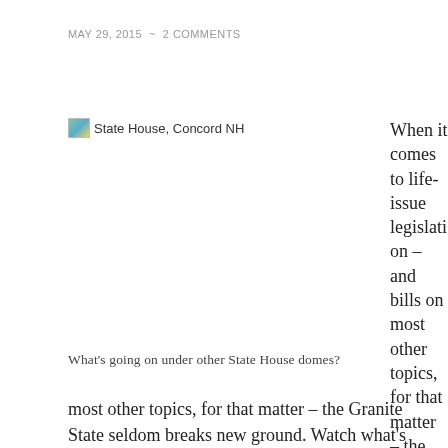MAY 29, 2015  ~  2 COMMENTS
[Figure (photo): Broken image placeholder with alt text 'State House, Concord NH']
What's going on under other State House domes?
When it comes to life-issue legislation – and bills on most other topics, for that matter – the Granite State seldom breaks new ground. Watch what's